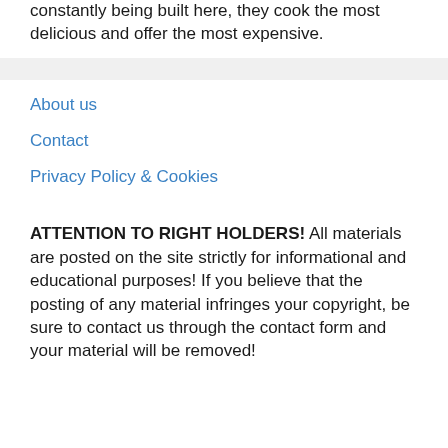constantly being built here, they cook the most delicious and offer the most expensive.
About us
Contact
Privacy Policy & Cookies
ATTENTION TO RIGHT HOLDERS! All materials are posted on the site strictly for informational and educational purposes! If you believe that the posting of any material infringes your copyright, be sure to contact us through the contact form and your material will be removed!